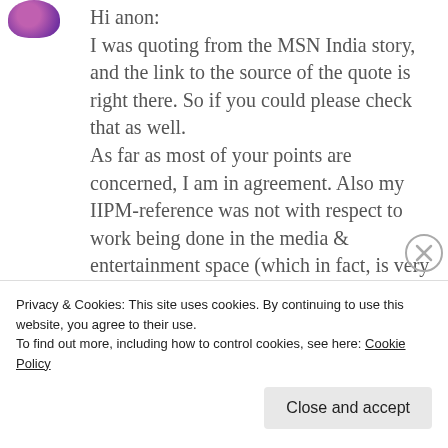[Figure (illustration): Partial avatar/profile image - purple circular shape cropped at top left corner]
Hi anon:
I was quoting from the MSN India story, and the link to the source of the quote is right there. So if you could please check that as well.
As far as most of your points are concerned, I am in agreement. Also my IIPM-reference was not with respect to work being done in the media & entertainment space (which in fact, is very encouraging); it had to do with press-
Privacy & Cookies: This site uses cookies. By continuing to use this website, you agree to their use.
To find out more, including how to control cookies, see here: Cookie Policy
Close and accept